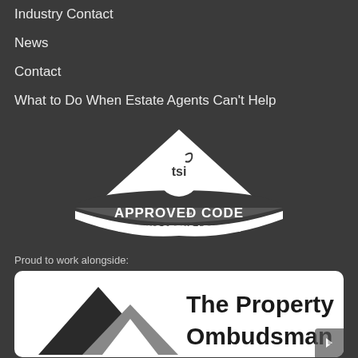Industry Contact
News
Contact
What to Do When Estate Agents Can't Help
[Figure (logo): TSI Approved Code TradingStandards.uk logo — white triangle/roof shape with tsi emblem and text APPROVED CODE TRADINGSTANDARDS.UK]
Proud to work alongside:
[Figure (logo): The Property Ombudsman logo — dark triangle mountain shapes on left, bold text The Property Ombudsman on right, white background box]